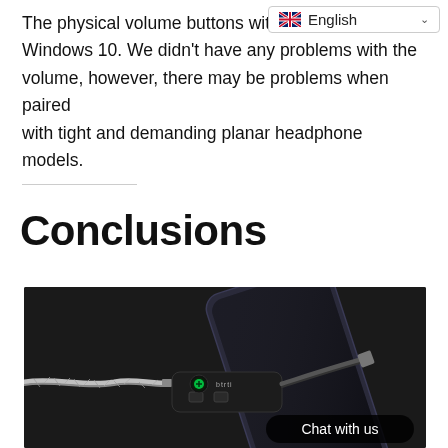The physical volume buttons w... Windows 10. We didn't have any problems with the volume, however, there may be problems when paired with tight and demanding planar headphone models.
[Figure (screenshot): Language selector widget showing English with UK flag and dropdown chevron]
Conclusions
[Figure (photo): Product photo of a small USB/3.5mm DAC/amp dongle connected to a smartphone via USB-C cable, with a braided headphone cable attached on the other end, on a dark background. A green power indicator LED is visible. A 'Chat with us' bubble overlay is shown in the bottom right.]